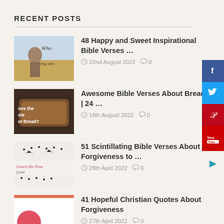RECENT POSTS
48 Happy and Sweet Inspirational Bible Verses … | 22nd August 2022 | 0
Awesome Bible Verses About Bread | 24 … | 18th August 2022 | 0
51 Scintillating Bible Verses About Forgiveness to … | 28th April 2022 | 0
41 Hopeful Christian Quotes About Forgiveness | 27th April 2022 | 0